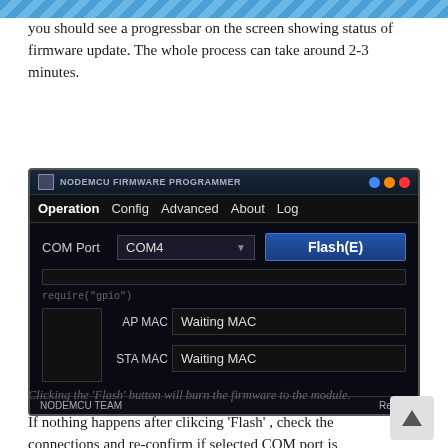you should see a progressbar on the screen showing status of firmware update. The whole process can take around 2-3 minutes.
[Figure (screenshot): NodeMCU Firmware Programmer application window showing COM Port set to COM4, Flash(E) button, empty progress bar, require('gpio') text, AP MAC and STA MAC fields both showing 'Waiting MAC', and status bar showing 'NODEMCU TEAM' and 'Ready'.]
Clicking the 'Flash' button will burn the firmware to the module.
If nothing happens after clikcing ‘Flash’ , check the connections and re-confirm if selected COM port is correct. You can also change the baud rate and retry